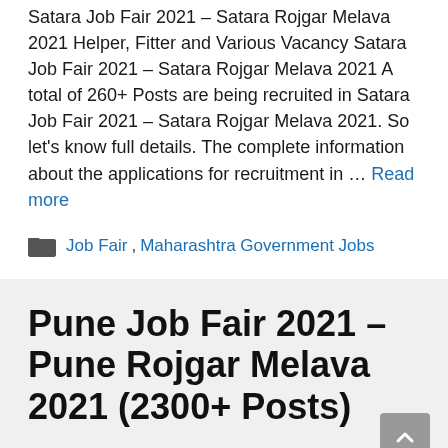Satara Job Fair 2021 – Satara Rojgar Melava 2021 Helper, Fitter and Various Vacancy Satara Job Fair 2021 – Satara Rojgar Melava 2021 A total of 260+ Posts are being recruited in Satara Job Fair 2021 – Satara Rojgar Melava 2021. So let's know full details. The complete information about the applications for recruitment in … Read more
Job Fair, Maharashtra Government Jobs
Pune Job Fair 2021 – Pune Rojgar Melava 2021 (2300+ Posts)